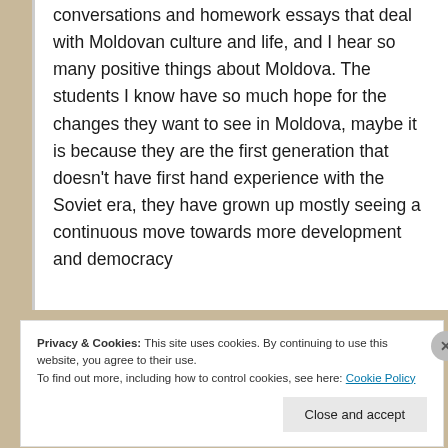conversations and homework essays that deal with Moldovan culture and life, and I hear so many positive things about Moldova. The students I know have so much hope for the changes they want to see in Moldova, maybe it is because they are the first generation that doesn't have first hand experience with the Soviet era, they have grown up mostly seeing a continuous move towards more development and democracy
Privacy & Cookies: This site uses cookies. By continuing to use this website, you agree to their use.
To find out more, including how to control cookies, see here: Cookie Policy
Close and accept